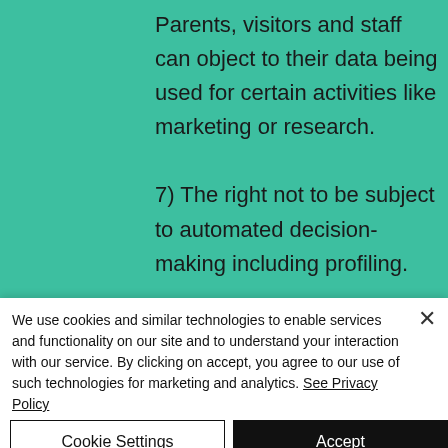Parents, visitors and staff can object to their data being used for certain activities like marketing or research. 7) The right not to be subject to automated decision-making including profiling. Automated decisions and profiling
We use cookies and similar technologies to enable services and functionality on our site and to understand your interaction with our service. By clicking on accept, you agree to our use of such technologies for marketing and analytics. See Privacy Policy